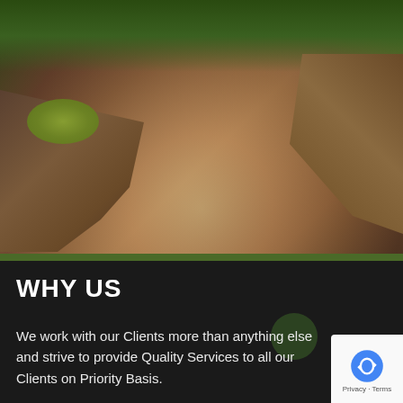[Figure (photo): Outdoor photo of an excavated earth/rock cutting showing layered brown and red soil strata, with green moss patches on the left wall and trees visible in the background at the top. A narrow path or trench runs through the center.]
WHY US
We work with our Clients more than anything else and strive to provide Quality Services to all our Clients on Priority Basis.